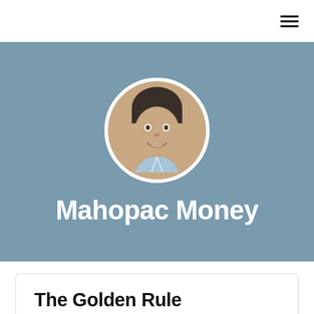≡
[Figure (photo): Profile photo of a smiling man in a white shirt, displayed in a circular crop, centered on a steel-blue banner background. Below the photo is the text 'Mahopac Money' in large white bold font.]
The Golden Rule